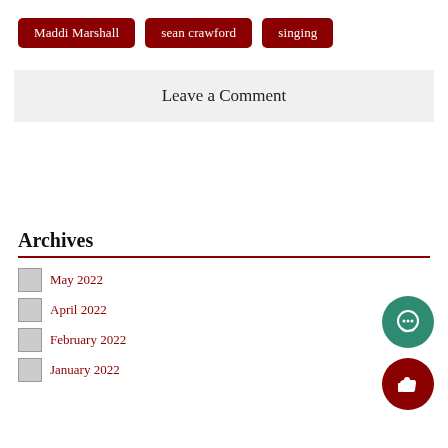Maddi Marshall
sean crawford
singing
Leave a Comment
Archives
May 2022
April 2022
February 2022
January 2022